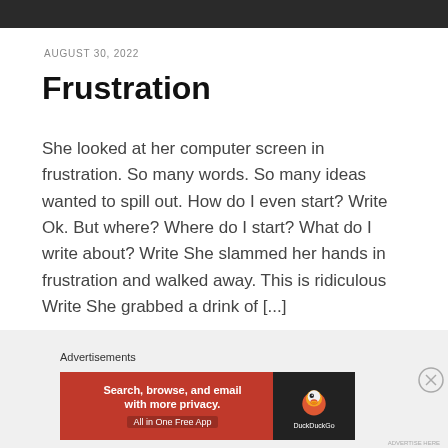AUGUST 30, 2022
Frustration
She looked at her computer screen in frustration. So many words. So many ideas wanted to spill out. How do I even start? Write Ok. But where? Where do I start? What do I write about? Write She slammed her hands in frustration and walked away. This is ridiculous Write She grabbed a drink of [...]
Advertisements
[Figure (screenshot): DuckDuckGo advertisement banner: orange background with text 'Search, browse, and email with more privacy. All in One Free App' and DuckDuckGo duck logo on dark background]